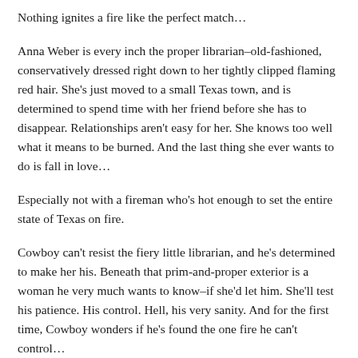Nothing ignites a fire like the perfect match…
Anna Weber is every inch the proper librarian–old-fashioned, conservatively dressed right down to her tightly clipped flaming red hair. She's just moved to a small Texas town, and is determined to spend time with her friend before she has to disappear. Relationships aren't easy for her. She knows too well what it means to be burned. And the last thing she ever wants to do is fall in love…
Especially not with a fireman who's hot enough to set the entire state of Texas on fire.
Cowboy can't resist the fiery little librarian, and he's determined to make her his. Beneath that prim-and-proper exterior is a woman he very much wants to know–if she'd let him. She'll test his patience. His control. Hell, his very sanity. And for the first time, Cowboy wonders if he's found the one fire he can't control…